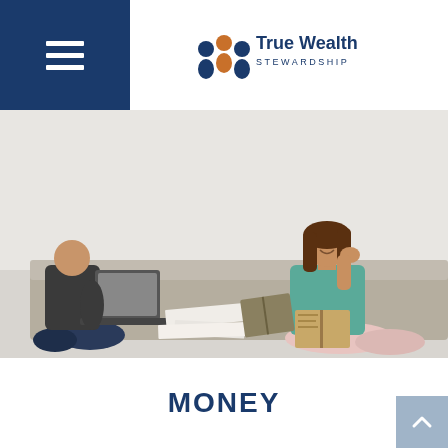[Figure (logo): True Wealth Stewardship logo with three circular figures and orange/blue text]
[Figure (photo): Two people sitting on a couch, one using a laptop and one reading a book, smiling couple in casual clothing]
MONEY